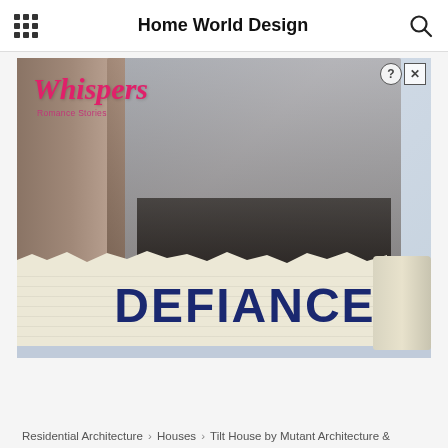Home World Design
[Figure (photo): Advertisement for 'Whispers' romance stories app featuring the title 'DEFIANCE' on a torn newspaper banner, with a couple embracing in the background. Ad close (x) and info (?) buttons visible in top right corner.]
Residential Architecture › Houses › Tilt House by Mutant Architecture &